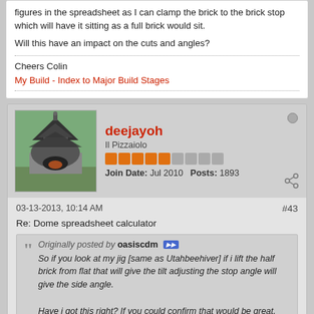figures in the spreadsheet as I can clamp the brick to the brick stop which will have it sitting as a full brick would sit.
Will this have an impact on the cuts and angles?
Cheers Colin
My Build - Index to Major Build Stages
deejayoh
Il Pizzaiolo
Join Date: Jul 2010  Posts: 1893
03-13-2013, 10:14 AM
#43
Re: Dome spreadsheet calculator
Originally posted by oasiscdm
So if you look at my jig [same as Utahbeehiver] if i lift the half brick from flat that will give the tilt adjusting the stop angle will give the side angle.

Have i got this right? If you could confirm that would be great.